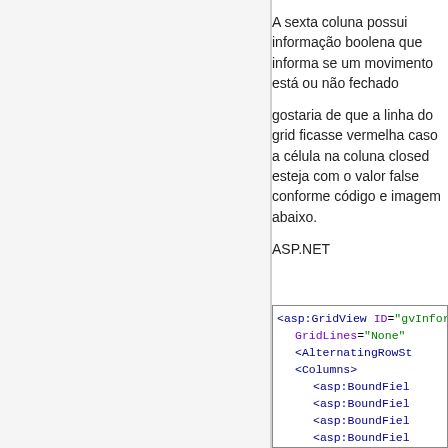A sexta coluna possui informação boolena que informa se um movimento está ou não fechado
gostaria de que a linha do grid ficasse vermelha caso a célula na coluna closed esteja com o valor false conforme código e imagem abaixo.
ASP.NET
[Figure (screenshot): Code snippet showing ASP.NET markup with asp:GridView element including GridLines='None', AlternatingRowStyle, Columns, multiple asp:BoundField elements, and closing Columns tag]